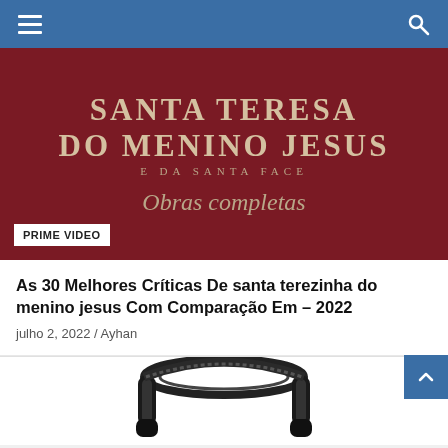Navigation bar with hamburger menu and search icon
[Figure (photo): Dark red/maroon book cover showing 'SANTA TERESA DO MENINO JESUS E DA SANTA FACE Obras completas' with a 'PRIME VIDEO' badge in the lower left corner]
As 30 Melhores Críticas De santa terezinha do menino jesus Com Comparação Em – 2022
julho 2, 2022 / Ayhan
[Figure (photo): Partial view of black over-ear headphones on a white background]